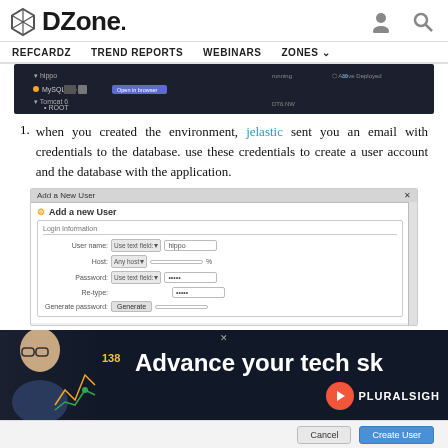DZone. REFCARDZ TREND REPORTS WEBINARS ZONES
[Figure (screenshot): Dark themed environment dashboard showing MySQL 5.5, Tomcat 6 and ROOT entries]
when you created the environment, jelastic sent you an email with credentials to the database. use these credentials to create a user account and the database with the application.
[Figure (screenshot): MySQL Add a New User dialog with Login Information fields: User name (hippo), Host (Any host), Password (masked), Re-type (masked), Generate password with Generate button]
[Figure (screenshot): Pluralsight advertisement banner: Advance your tech sk... with person and 138 number]
[Figure (screenshot): Bottom bar with Cancel and Create User buttons]